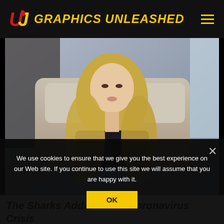Graphics Unleashed
[Figure (photo): Blonde woman sitting on a couch, speaking to the camera, wearing a dark off-shoulder top, with a tufted headboard and patterned wallpaper in the background.]
The Sharks Address The Coronavirus Crisis
We use cookies to ensure that we give you the best experience on our Web site. If you continue to use this site we will assume that you are happy with it.